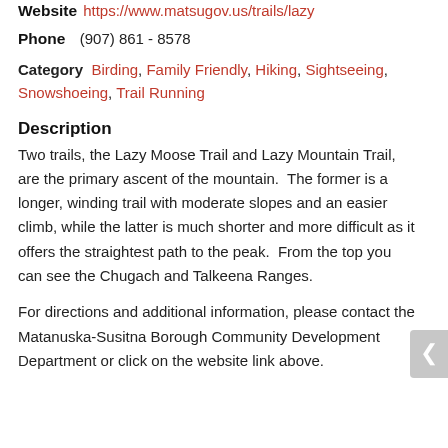Website  https://www.matsugov.us/trails/lazy
Phone   (907) 861 - 8578
Category  Birding, Family Friendly, Hiking, Sightseeing, Snowshoeing, Trail Running
Description
Two trails, the Lazy Moose Trail and Lazy Mountain Trail, are the primary ascent of the mountain.  The former is a longer, winding trail with moderate slopes and an easier climb, while the latter is much shorter and more difficult as it offers the straightest path to the peak.  From the top you can see the Chugach and Talkeena Ranges.
For directions and additional information, please contact the Matanuska-Susitna Borough Community Development Department or click on the website link above.